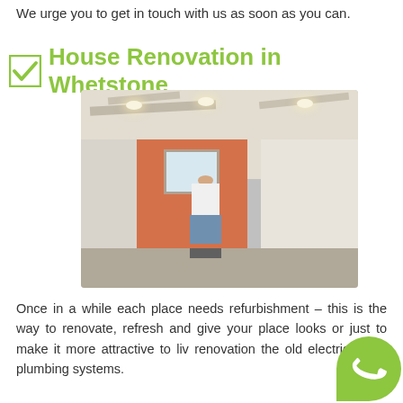We urge you to get in touch with us as soon as you can.
House Renovation in Whetstone
[Figure (photo): A construction worker standing in a room under renovation, with orange-painted walls, recessed ceiling lights, and drywall work in progress]
Once in a while each place needs refurbishment – this is the way to renovate, refresh and give your place looks or just to make it more attractive to live renovation the old electrical and plumbing systems.